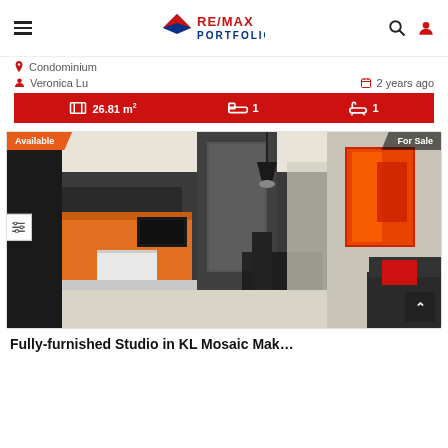RE/MAX PORTFOLIO — navigation bar with hamburger menu, logo, search and user icons
Condominium
Veronica Lu   2 years ago
26.81 m²   1 bedroom   1 bathroom
[Figure (photo): Interior photo of a fully-furnished studio apartment showing kitchen with orange cabinets, dining table, chairs, and a red abstract painting on the wall. 'Available' badge on top-left, 'For Sale' badge on top-right.]
Fully-furnished Studio in KL Mosaic Mak...